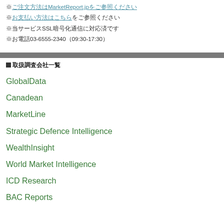※ご注文方法はMarketReport.jpをご参照ください
※お支払い方法はこちらをご参照ください
※当サービスSSL暗号化通信に対応済です
※お電話03-6555-2340（09:30-17:30）
■取扱調査会社一覧
GlobalData
Canadean
MarketLine
Strategic Defence Intelligence
WealthInsight
World Market Intelligence
ICD Research
BAC Reports